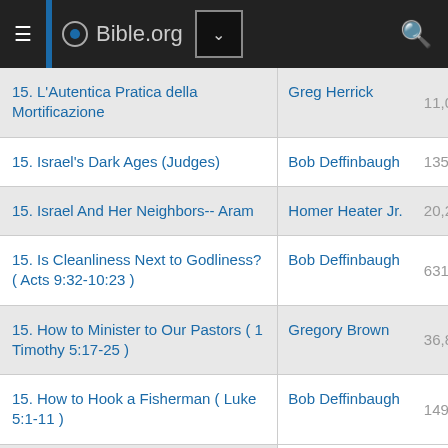Bible.org
| Title | Author | Views |
| --- | --- | --- |
| 15. L'Autentica Pratica della Mortificazione | Greg Herrick | 11,002 |
| 15. Israel's Dark Ages (Judges) | Bob Deffinbaugh | 135,821 |
| 15. Israel And Her Neighbors-- Aram | Homer Heater Jr. | 20,270 |
| 15. Is Cleanliness Next to Godliness? ( Acts 9:32-10:23 ) | Bob Deffinbaugh | 631,567 |
| 15. How to Minister to Our Pastors ( 1 Timothy 5:17-25 ) | Gregory Brown | 36,857 |
| 15. How to Hook a Fisherman ( Luke 5:1-11 ) | Bob Deffinbaugh | 149,817 |
| 15. God's Purposes for His People... |  |  |